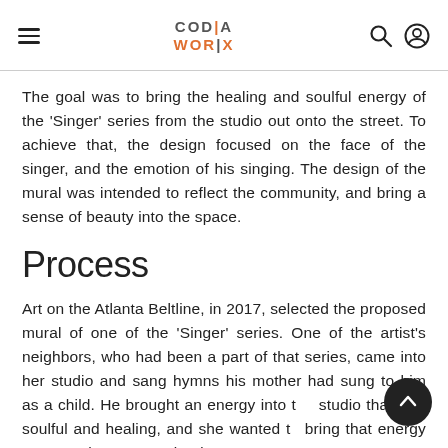CODA WORX
The goal was to bring the healing and soulful energy of the 'Singer' series from the studio out onto the street. To achieve that, the design focused on the face of the singer, and the emotion of his singing. The design of the mural was intended to reflect the community, and bring a sense of beauty into the space.
Process
Art on the Atlanta Beltline, in 2017, selected the proposed mural of one of the 'Singer' series. One of the artist's neighbors, who had been a part of that series, came into her studio and sang hymns his mother had sung to him as a child. He brought an energy into the studio that was soulful and healing, and she wanted to bring that energy out onto the street. Friends at